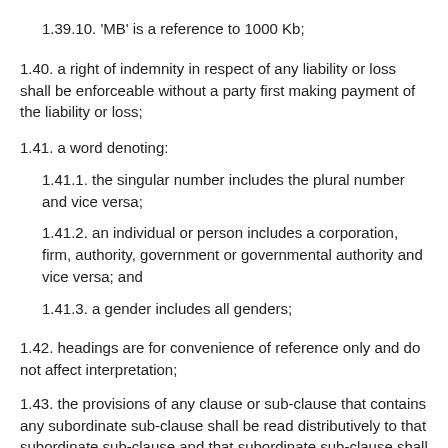1.39.10. 'MB' is a reference to 1000 Kb;
1.40. a right of indemnity in respect of any liability or loss shall be enforceable without a party first making payment of the liability or loss;
1.41. a word denoting:
1.41.1. the singular number includes the plural number and vice versa;
1.41.2. an individual or person includes a corporation, firm, authority, government or governmental authority and vice versa; and
1.41.3. a gender includes all genders;
1.42. headings are for convenience of reference only and do not affect interpretation;
1.43. the provisions of any clause or sub-clause that contains any subordinate sub-clause shall be read distributively to that subordinate sub-clause and that subordinate sub-clause shall be construed accordingly; and